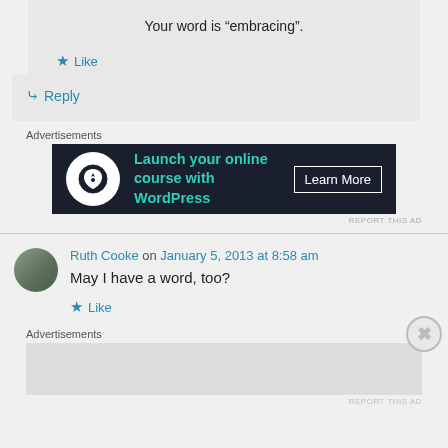Your word is “embracing”.
★ Like
↳ Reply
Advertisements
[Figure (screenshot): Advertisement banner: dark background with circle logo, text 'Launch your online course with WordPress' in teal, and 'Learn More' button in white]
REPORT THIS AD
Ruth Cooke on January 5, 2013 at 8:58 am
May I have a word, too?
★ Like
Advertisements
REPORT THIS AD